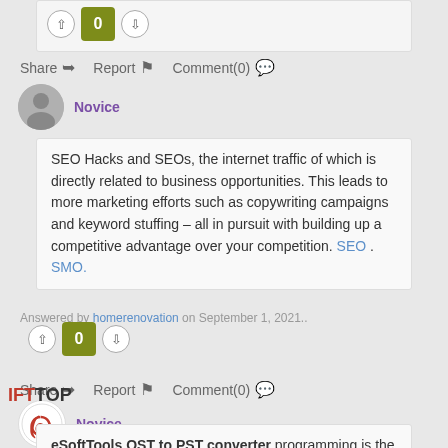0 (vote count, top card)
Share  Report  Comment(0)
Novice
SEO Hacks and SEOs, the internet traffic of which is directly related to business opportunities. This leads to more marketing efforts such as copywriting campaigns and keyword stuffing – all in pursuit with building up a competitive advantage over your competition. SEO . SMO.
Answered by homerenovation on September 1, 2021..
0 (vote count, second card)
Share  Report  Comment(0)
Novice
eSoftTools OST to PST converter programming is the complete solution for efficiently and productively restoring information and OST file Recovery mailbox data. It is capable of separating all email